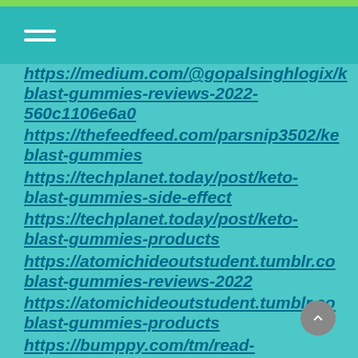Navigation menu
https://medium.com/@gopalsinghlogix/k blast-gummies-reviews-2022-560c1106e6a0
https://thefeedfeed.com/parsnip3502/ke blast-gummies
https://techplanet.today/post/keto-blast-gummies-side-effect
https://techplanet.today/post/keto-blast-gummies-products
https://atomichideoutstudent.tumblr.com blast-gummies-reviews-2022
https://atomichideoutstudent.tumblr.com blast-gummies-products
https://bumppy.com/tm/read-blog/58448
https://bumppy.com/tm/read-blog/58449
https://bumppy.com/tm/read-blog/58450